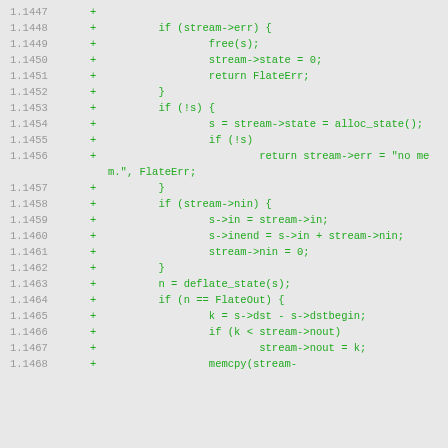Code diff showing lines 1.1447 to 1.1468 with additions (+) in green, containing C code for stream state management including error handling, alloc_state, deflate_state, and memcpy operations.